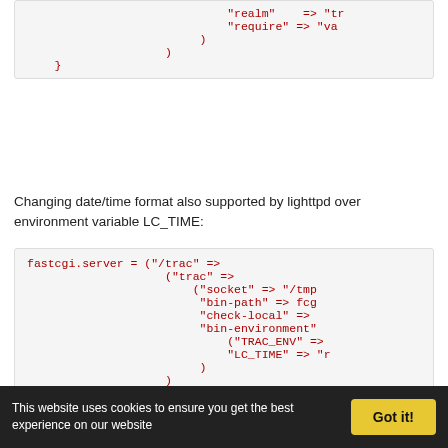"realm" => "tr
"require" => "va
)
)
}
Changing date/time format also supported by lighttpd over environment variable LC_TIME:
fastcgi.server = ("/trac" =>
                    ("trac" =>
                        ("socket" => "/tmp
                         "bin-path" => fcg
                         "check-local" =>
                         "bin-environment"
                             ("TRAC_ENV" =>
                             "LC_TIME" => "r
                         )
                    )
                )
For details about languages specification see ➩ TracFaq question 2.13.
Other important information like the mapping static resources advices are useful for non-fastcgi specific installation aspects.
This website uses cookies to ensure you get the best experience on our website   Got it!